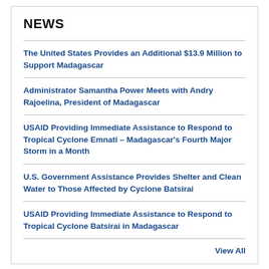NEWS
The United States Provides an Additional $13.9 Million to Support Madagascar
Administrator Samantha Power Meets with Andry Rajoelina, President of Madagascar
USAID Providing Immediate Assistance to Respond to Tropical Cyclone Emnati – Madagascar's Fourth Major Storm in a Month
U.S. Government Assistance Provides Shelter and Clean Water to Those Affected by Cyclone Batsirai
USAID Providing Immediate Assistance to Respond to Tropical Cyclone Batsirai in Madagascar
View All